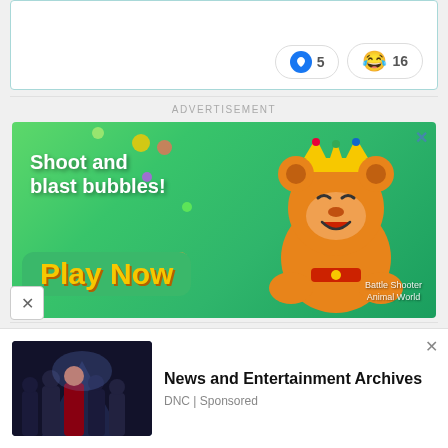[Figure (screenshot): Social media post footer showing reaction buttons: heart icon with count 5, laughing emoji with count 16]
ADVERTISEMENT
[Figure (screenshot): Game advertisement banner: Shoot and blast bubbles! Play Now - Battle Shooter Animal World game ad with cartoon bear character]
[Figure (screenshot): Social media user post card: avatar of man, username scubascuba3, score +19258, Posted February 14, with three-dot menu]
[Figure (screenshot): Bottom advertisement: News and Entertainment Archives, DNC | Sponsored, with movie/TV show image]